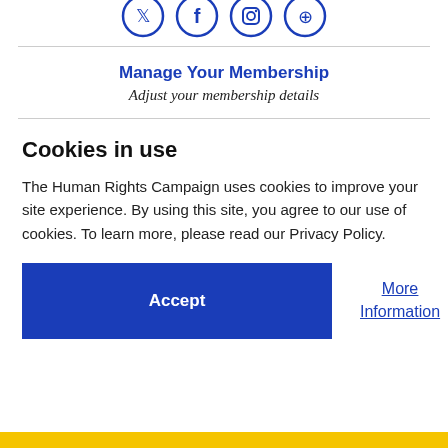[Figure (illustration): Row of four social media icon circles (Twitter, Facebook, Instagram, and one other) in blue outline style, partially cropped at top]
Manage Your Membership
Adjust your membership details
Cookies in use
The Human Rights Campaign uses cookies to improve your site experience. By using this site, you agree to our use of cookies. To learn more, please read our Privacy Policy.
Accept
More Information